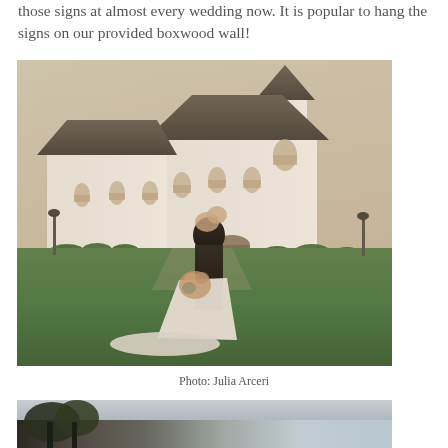those signs at almost every wedding now. It is popular to hang the signs on our provided boxwood wall!
[Figure (photo): A bride and groom kissing in front of a white chapel/church venue on a green lawn at dusk. The groom in a black suit dips the bride in a white wedding gown with a long train and bouquet.]
Photo: Julia Arceri
[Figure (photo): Partial view of another outdoor wedding venue photo, cropped at the bottom of the page.]